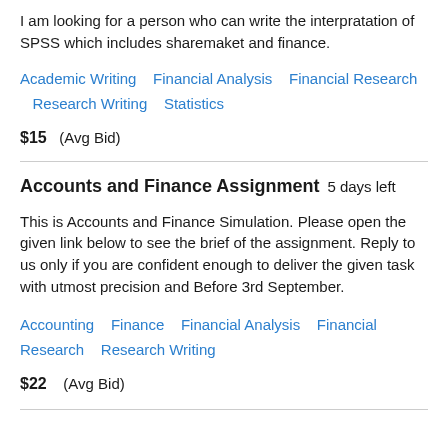I am looking for a person who can write the interpratation of SPSS which includes sharemaket and finance.
Academic Writing   Financial Analysis   Financial Research   Research Writing   Statistics
$15  (Avg Bid)
Accounts and Finance Assignment  5 days left
This is Accounts and Finance Simulation. Please open the given link below to see the brief of the assignment. Reply to us only if you are confident enough to deliver the given task with utmost precision and Before 3rd September.
Accounting   Finance   Financial Analysis   Financial Research   Research Writing
$22  (Avg Bid)